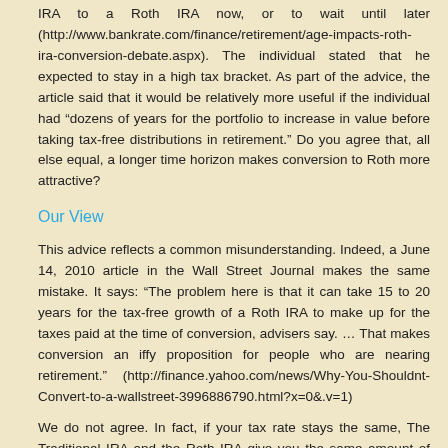IRA to a Roth IRA now, or to wait until later (http://www.bankrate.com/finance/retirement/age-impacts-roth-ira-conversion-debate.aspx).  The individual stated that he expected to stay in a high tax bracket.  As part of the advice, the article said that it would be relatively more useful if the individual had “dozens of years for the portfolio to increase in value before taking tax-free distributions in retirement.”  Do you agree that, all else equal, a longer time horizon makes conversion to Roth more attractive?
Our View
This advice reflects a common misunderstanding.  Indeed, a June 14, 2010 article in the Wall Street Journal makes the same mistake.  It says: “The problem here is that it can take 15 to 20 years for the tax-free growth of a Roth IRA to make up for the taxes paid at the time of conversion, advisers say. … That makes conversion an iffy proposition for people who are nearing retirement.”  (http://finance.yahoo.com/news/Why-You-Shouldnt-Convert-to-a-wallstreet-3996886790.html?x=0&.v=1)
We do not agree.  In fact, if your tax rate stays the same, The Traditional IRA and the Roth IRA give you the same amount of dollars, in your pocket, at withdrawal.  Here’s an illustration that shows how this works:
Suppose you have $10,000 in pre-tax dollars in a Traditional IRA,